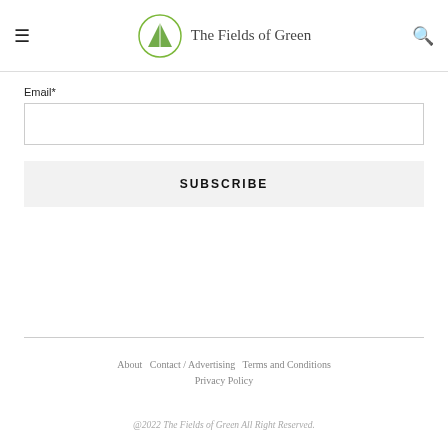The Fields of Green
Email*
SUBSCRIBE
About   Contact / Advertising   Terms and Conditions   Privacy Policy   @2022 The Fields of Green All Right Reserved.